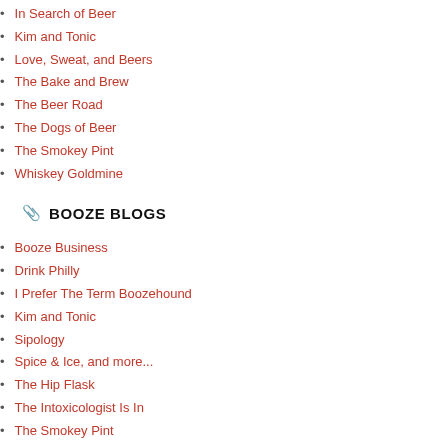In Search of Beer
Kim and Tonic
Love, Sweat, and Beers
The Bake and Brew
The Beer Road
The Dogs of Beer
The Smokey Pint
Whiskey Goldmine
BOOZE BLOGS
Booze Business
Drink Philly
I Prefer The Term Boozehound
Kim and Tonic
Sipology
Spice & Ice, and more...
The Hip Flask
The Intoxicologist Is In
The Smokey Pint
There and Back Again, A Cocktail Journey
Whiskey Goldmine